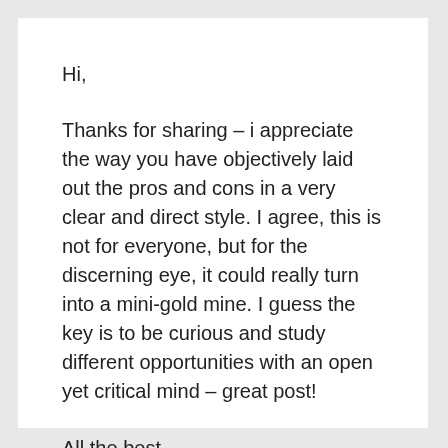Hi,
Thanks for sharing – i appreciate the way you have objectively laid out the pros and cons in a very clear and direct style. I agree, this is not for everyone, but for the discerning eye, it could really turn into a mini-gold mine. I guess the key is to be curious and study different opportunities with an open yet critical mind – great post!
All the best,
Norman